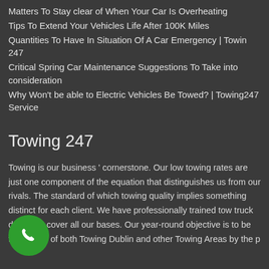Matters To Stay clear of When Your Car Is Overheating
Tips To Extend Your Vehicles Life After 100K Miles
Quantities To Have In Situation Of A Car Emergency | Towin 247
Critical Spring Car Maintenance Suggestions To Take into consideration
Why Won't be able to Electric Vehicles Be Towed? | Towing247 Service
Towing 247
Towing is our business ' cornerstone. Our low towing rates are just one component of the equation that distinguishes us from our rivals. The standard of which towing quality implies something distinct for each client. We have professionally trained tow truck drivers to cover all our bases. Our year-round objective is to be the choice of both Towing Dublin and other Towing Areas by the p